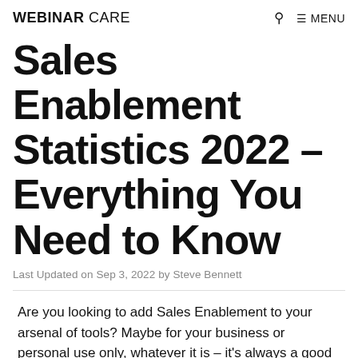WEBINAR CARE   🔍  ☰ MENU
Sales Enablement Statistics 2022 – Everything You Need to Know
Last Updated on Sep 3, 2022 by Steve Bennett
Are you looking to add Sales Enablement to your arsenal of tools? Maybe for your business or personal use only, whatever it is – it's always a good idea to know more about the most